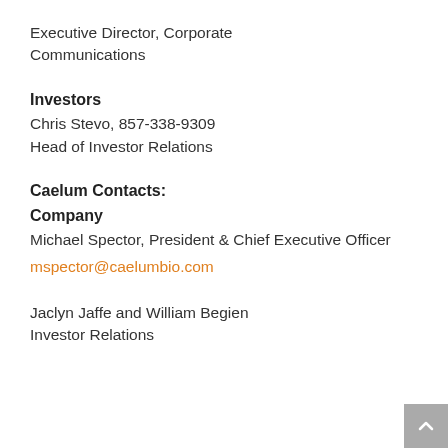Executive Director, Corporate Communications
Investors
Chris Stevo, 857-338-9309
Head of Investor Relations
Caelum Contacts:
Company
Michael Spector, President & Chief Executive Officer
mspector@caelumbio.com
Jaclyn Jaffe and William Begien
Investor Relations